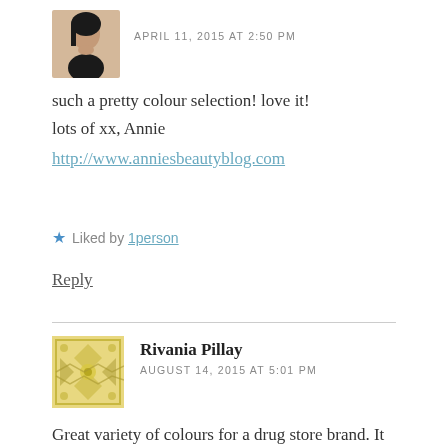[Figure (photo): Avatar photo of a woman with dark hair]
APRIL 11, 2015 AT 2:50 PM
such a pretty colour selection! love it!
lots of xx, Annie
http://www.anniesbeautyblog.com
★ Liked by 1person
Reply
[Figure (illustration): Decorative avatar with yellow/gold geometric pattern]
Rivania Pillay
AUGUST 14, 2015 AT 5:01 PM
Great variety of colours for a drug store brand. It is definitely worth trying. It is an added bonus that it is at such an affordable price.